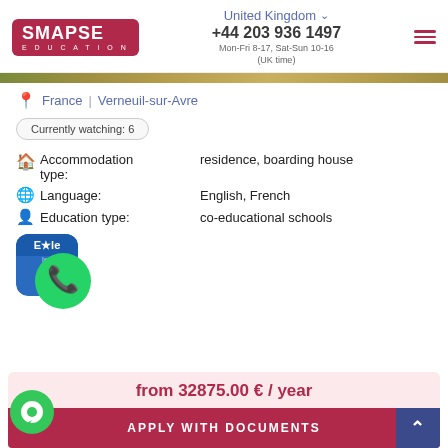SMAPSE EDUCATION | United Kingdom | +44 203 936 1497 | Mon-Fri 8-17, Sat-Sun 10-16 (UK time)
France | Verneuil-sur-Avre
Currently watching: 6
Accommodation type: residence, boarding house
Language: English, French
Education type: co-educational schools
[Figure (logo): WhatsApp green circle icon with phone handset, overlapping a blue Ecole badge icon]
from 32875.00 € / year
APPLY WITH DOCUMENTS